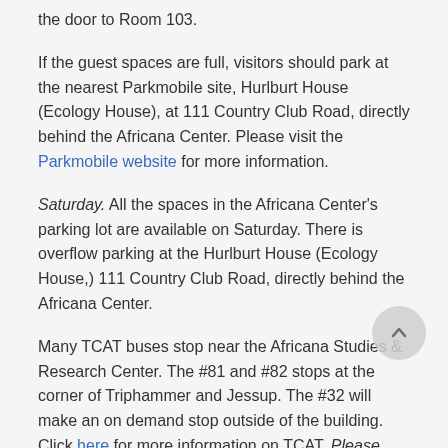the door to Room 103.
If the guest spaces are full, visitors should park at the nearest Parkmobile site, Hurlburt House (Ecology House), at 111 Country Club Road, directly behind the Africana Center. Please visit the Parkmobile website for more information.
Saturday. All the spaces in the Africana Center's parking lot are available on Saturday. There is overflow parking at the Hurlburt House (Ecology House,) 111 Country Club Road, directly behind the Africana Center.
Many TCAT buses stop near the Africana Studies & Research Center. The #81 and #82 stops at the corner of Triphammer and Jessup. The #32 will make an on demand stop outside of the building. Click here for more information on TCAT. Please